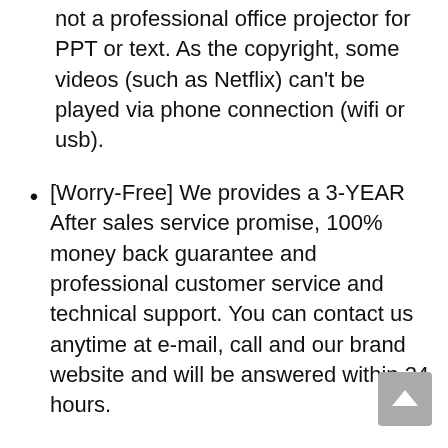not a professional office projector for PPT or text. As the copyright, some videos (such as Netflix) can't be played via phone connection (wifi or usb).
[Worry-Free] We provides a 3-YEAR After sales service promise, 100% money back guarantee and professional customer service and technical support. You can contact us anytime at e-mail, call and our brand website and will be answered within 24 hours.
[Tips] Due to copyright protection issues, the projector doesn't support mirror protected Apps from smartphones via WiFi or USB connection, such as Netflix, Amazon Prime Video and Hulu. But you can